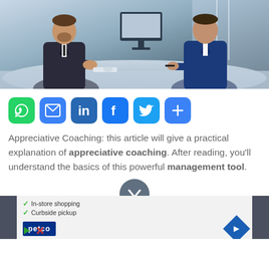[Figure (photo): Two businessmen in suits sitting across from each other at a desk with a computer monitor, appearing to have a professional conversation or coaching session]
[Figure (infographic): Social sharing button bar with icons for WhatsApp (green), Email (blue), LinkedIn (blue), Facebook (blue), Twitter (blue), and More/Share (blue)]
Appreciative Coaching: this article will give a practical explanation of appreciative coaching. After reading, you'll understand the basics of this powerful management tool.
[Figure (infographic): Advertisement overlay showing Petco logo with in-store shopping and curbside pickup checkmarks, navigation arrow icon, and small social media icons]